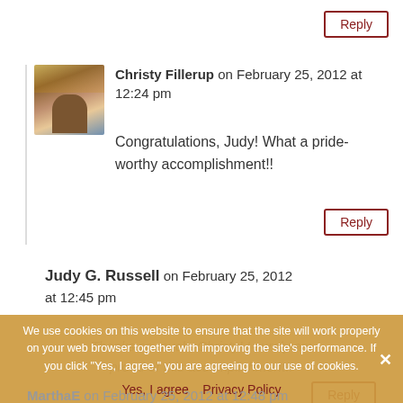Reply
Christy Fillerup on February 25, 2012 at 12:24 pm
Congratulations, Judy! What a pride-worthy accomplishment!!
Reply
Judy G. Russell on February 25, 2012 at 12:45 pm
Thanks so much, Christy! I surely am proud of this accomplishment!!
We use cookies on this website to ensure that the site will work properly on your web browser together with improving the site's performance. If you click "Yes, I agree," you are agreeing to our use of cookies.
Yes, I agree   Privacy Policy
MarthaE on February 25, 2012 at 12:48 pm